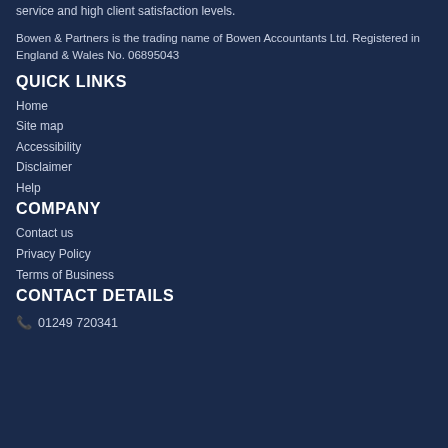service and high client satisfaction levels.
Bowen & Partners is the trading name of Bowen Accountants Ltd. Registered in England & Wales No. 06895043
QUICK LINKS
Home
Site map
Accessibility
Disclaimer
Help
COMPANY
Contact us
Privacy Policy
Terms of Business
CONTACT DETAILS
01249 720341